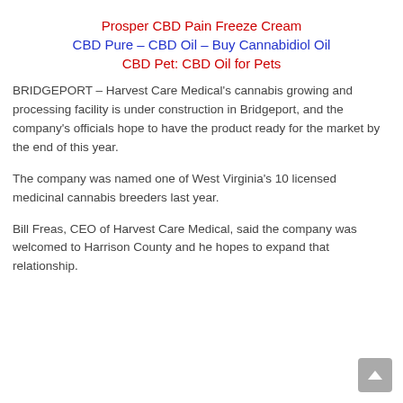Prosper CBD Pain Freeze Cream
CBD Pure – CBD Oil – Buy Cannabidiol Oil
CBD Pet: CBD Oil for Pets
BRIDGEPORT – Harvest Care Medical's cannabis growing and processing facility is under construction in Bridgeport, and the company's officials hope to have the product ready for the market by the end of this year.
The company was named one of West Virginia's 10 licensed medicinal cannabis breeders last year.
Bill Freas, CEO of Harvest Care Medical, said the company was welcomed to Harrison County and he hopes to expand that relationship.